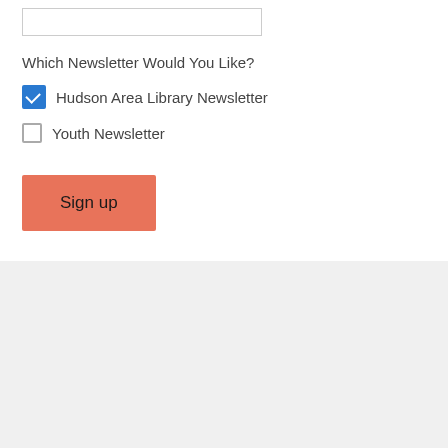Which Newsletter Would You Like?
Hudson Area Library Newsletter (checked)
Youth Newsletter (unchecked)
Sign up